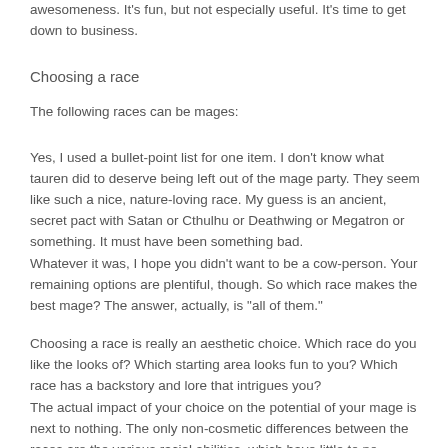awesomeness. It's fun, but not especially useful. It's time to get down to business.
Choosing a race
The following races can be mages:
Yes, I used a bullet-point list for one item. I don't know what tauren did to deserve being left out of the mage party. They seem like such a nice, nature-loving race. My guess is an ancient, secret pact with Satan or Cthulhu or Deathwing or Megatron or something. It must have been something bad.
Whatever it was, I hope you didn't want to be a cow-person. Your remaining options are plentiful, though. So which race makes the best mage? The answer, actually, is "all of them."
Choosing a race is really an aesthetic choice. Which race do you like the looks of? Which starting area looks fun to you? Which race has a backstory and lore that intrigues you?
The actual impact of your choice on the potential of your mage is next to nothing. The only non-cosmetic differences between the races are the various racial abilities, which have little to no tangible effect on your potency at the end of the game.
So which race are the other problems for...